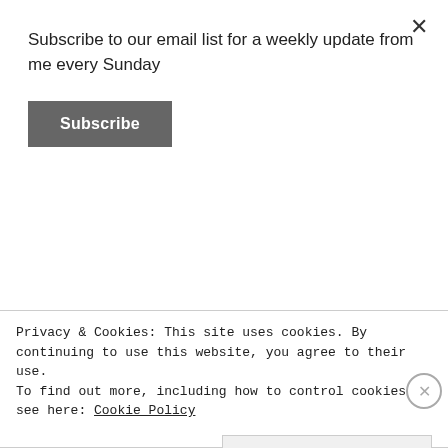Subscribe to our email list for a weekly update from me every Sunday
Subscribe
[Figure (illustration): Teal background image with blue and red ink smoke clouds on either side and large white bold text 'VS' in the center]
Privacy & Cookies: This site uses cookies. By continuing to use this website, you agree to their use.
To find out more, including how to control cookies, see here: Cookie Policy
Close and accept
REPORT THIS AD